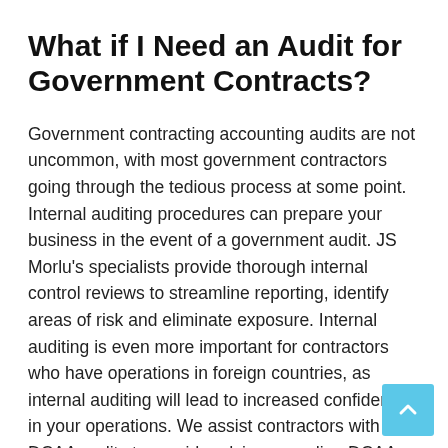What if I Need an Audit for Government Contracts?
Government contracting accounting audits are not uncommon, with most government contractors going through the tedious process at some point. Internal auditing procedures can prepare your business in the event of a government audit. JS Morlu’s specialists provide thorough internal control reviews to streamline reporting, identify areas of risk and eliminate exposure. Internal auditing is even more important for contractors who have operations in foreign countries, as internal auditing will lead to increased confidence in your operations. We assist contractors with DCAA audits to provide advice regarding DCAA audits of all types. We can provide the following services: